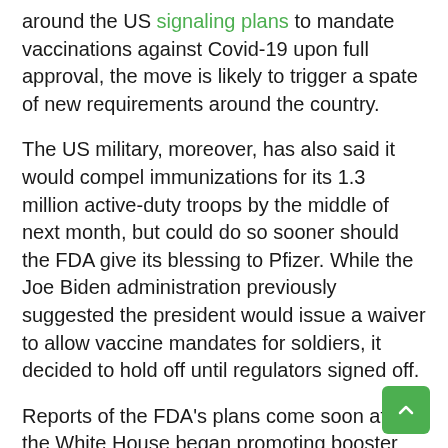around the US signaling plans to mandate vaccinations against Covid-19 upon full approval, the move is likely to trigger a spate of new requirements around the country.
The US military, moreover, has also said it would compel immunizations for its 1.3 million active-duty troops by the middle of next month, but could do so sooner should the FDA give its blessing to Pfizer. While the Joe Biden administration previously suggested the president would issue a waiver to allow vaccine mandates for soldiers, it decided to hold off until regulators signed off.
Reports of the FDA's plans come soon after the White House began promoting booster shots for all fully vaccinated adults, citing US health agencies, which noted the immunizations are losing effectiveness over time, particularly against more infectious Delta mutation. While the FDA hasn't yet approved third doses for all healthy Americans, the agency did give the go-ahead for those